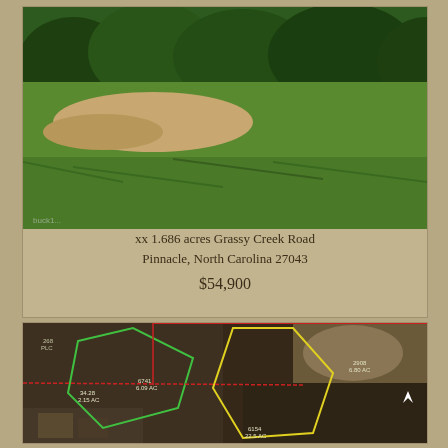[Figure (photo): Aerial/ground-level photo of a grassy field with tree line in the background, showing cleared sandy areas and green grass.]
xx 1.686 acres Grassy Creek Road
Pinnacle, North Carolina 27043
$54,900
[Figure (map): Aerial map/GIS view of land parcels with colored boundary overlays: green polygon (34.28, 2.15 AC), yellow polygon (6154, 22.5 AC), red boundary lines, and labeled parcels including 6741 6.09 AC, 2908 6.80 AC.]